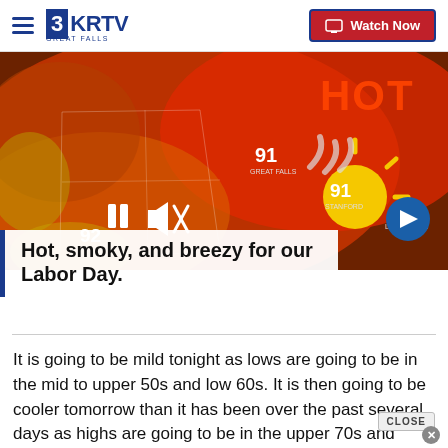3KRTV GREAT FALLS | Watch Now
[Figure (screenshot): Weather broadcast screenshot showing temperature map of Montana with values 91 (Great Falls), 91 (Stanford), 92 (Lewistown), 92 bottom-left, red/orange heat map, HOT text, sun graphic, video controls (pause, mute), and next arrow button]
Hot, smoky, and breezy for our Labor Day.
It is going to be mild tonight as lows are going to be in the mid to upper 50s and low 60s. It is then going to be cooler tomorrow than it has been over the past several days as highs are going to be in the upper 70s and